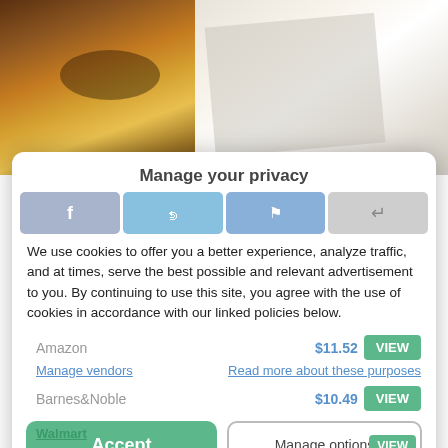[Figure (photo): Background photo collage: left side shows a chocolate/brown object on yellow background (brownie or food item with logo), right side shows an open book/journal with handwritten text]
Manage your privacy
We use cookies to offer you a better experience, analyze traffic, and at times, serve the best possible and relevant advertisement to you. By continuing to use this site, you agree with the use of cookies in accordance with our linked policies below.
Amazon  $11.52  VIEW
Manage vendors   Read more about these purposes
Barnes&Noble  $10.49  VIEW
Walmart  Accept  Manage options  VIEW
Cookie Policy   Privacy statement   Impressum
What does it take to be a grown up? To tell you the truth, when I was a teenager, I would always assume that I already knew what I was doing and what I should be doing. In my head, I had my life under control. I used to